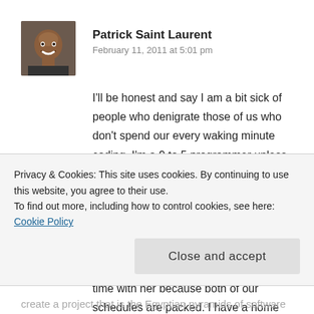[Figure (photo): Profile photo of Patrick Saint Laurent — a man smiling, close-cropped headshot]
Patrick Saint Laurent
February 11, 2011 at 5:01 pm
I'll be honest and say I am a bit sick of people who denigrate those of us who don't spend our every waking minute coding. I'm a 9 to 5 programmer unless there is a deadline or my employer really needs more of my time. I have been doing so for nearly 11 years now and I'm very good at my job. Why do I work 9 to 5? I have a wife who works in the medical field and I'd like to spend time with her because both of our schedules are packed. I have a home that needs to be maintained. I own rental properties
Privacy & Cookies: This site uses cookies. By continuing to use this website, you agree to their use.
To find out more, including how to control cookies, see here: Cookie Policy
Close and accept
create a project that is the Egyptian pyramids of software